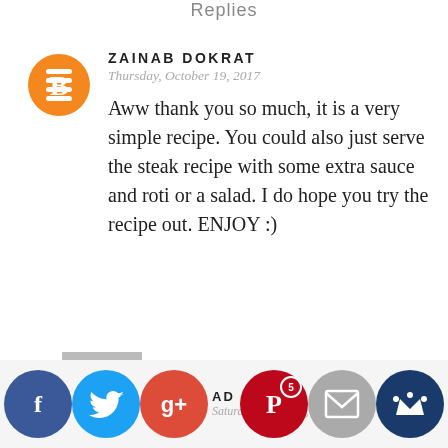Replies
ZAINAB DOKRAT
Thursday, October 19, 2017
Aww thank you so much, it is a very simple recipe. You could also just serve the steak recipe with some extra sauce and roti or a salad. I do hope you try the recipe out. ENJOY :)
Reply
AD  ANW
Saturday, October  , 2017